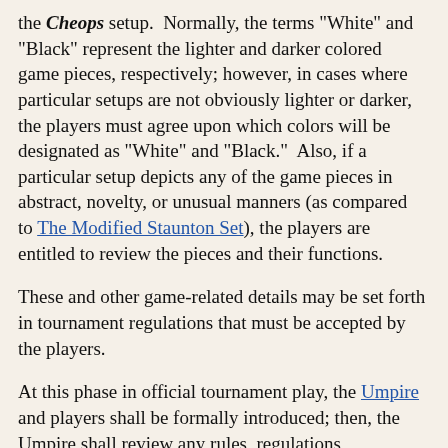the Cheops setup. Normally, the terms "White" and "Black" represent the lighter and darker colored game pieces, respectively; however, in cases where particular setups are not obviously lighter or darker, the players must agree upon which colors will be designated as "White" and "Black." Also, if a particular setup depicts any of the game pieces in abstract, novelty, or unusual manners (as compared to The Modified Staunton Set), the players are entitled to review the pieces and their functions.
These and other game-related details may be set forth in tournament regulations that must be accepted by the players.
At this phase in official tournament play, the Umpire and players shall be formally introduced; then, the Umpire shall review any rules, regulations, information, or standards of conduct deemed relevant, necessary, or prudent to insure proper sportsmanship and game play. Also, the Umpire shall respond to any reasonable, game-related petitions from the players prior to the start of